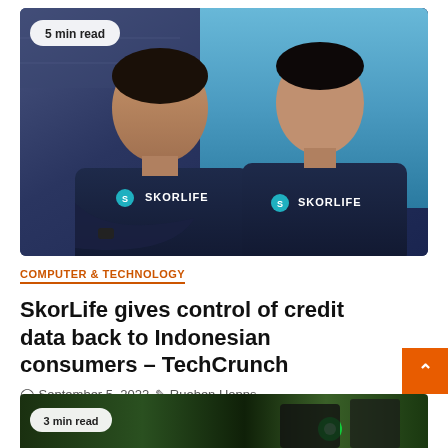[Figure (photo): Two men wearing dark navy SKORLIFE branded t-shirts, smiling against a blue background. A badge in the top-left reads '5 min read'.]
COMPUTER & TECHNOLOGY
SkorLife gives control of credit data back to Indonesian consumers – TechCrunch
September 5, 2022   Rueben Hopps
[Figure (photo): Partial view of a dark tech-themed image with green lighting. A badge reads '3 min read'.]